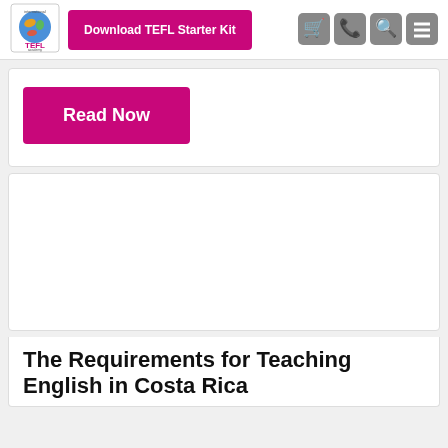[Figure (logo): International TEFL Academy logo with globe graphic]
Download TEFL Starter Kit
[Figure (infographic): Navigation icons: shopping cart, phone, search, menu (hamburger)]
Read Now
[Figure (photo): Large image placeholder (white space) for article]
The Requirements for Teaching English in Costa Rica